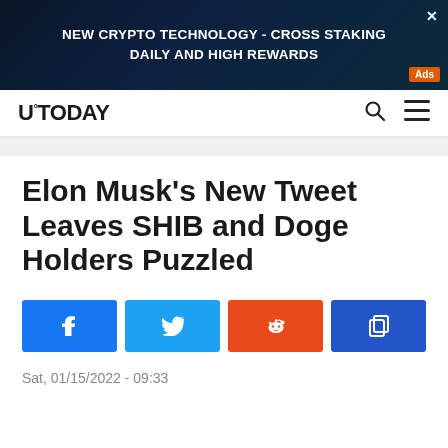[Figure (other): Advertisement banner: NEW CRYPTO TECHNOLOGY - CROSS STAKING DAILY AND HIGH REWARDS with Ads badge]
U°TODAY
Elon Musk's New Tweet Leaves SHIB and Doge Holders Puzzled
[Figure (other): Social share buttons: Facebook, Twitter, Reddit, Copy]
Sat, 01/15/2022 - 09:33